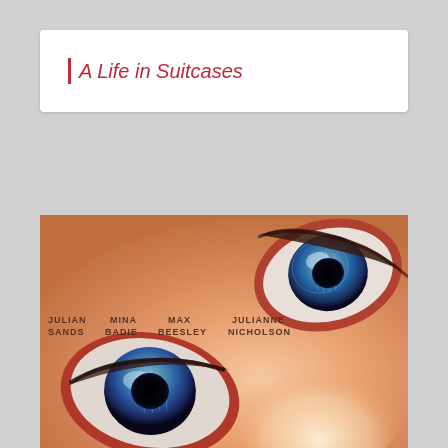A Life in Suitcases
[Figure (illustration): Movie poster for 'A Life in Suitcases' featuring a close-up of a face with two blue eyes with red rims against an orange/peach background. Actor names visible: Julian Sands, Mina Badie, Max Beesley, Julianne Nicholson.]